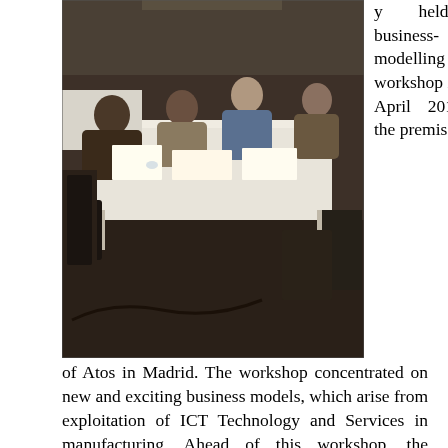[Figure (photo): Workshop scene showing people seated around white tables working together in a conference/meeting room setting. The Atos logo is visible in the background.]
y held a business-modelling workshop in April 2015 at the premises of Atos in Madrid. The workshop concentrated on new and exciting business models, which arise from exploitation of ICT Technology and Services in manufacturing. Ahead of this workshop, the Road4FAME consortium had identified and analyzed about 100 models and conducted interviews with industrialists to identify future business opportunities. Based on this, results were categorised into 10 areas and the new business opportunities identified so far were mapped, to the trends, drivers, ICT solutions identified and recommendations made by Road4FAME. Furthermore, participants brainstormed new potential business opportunities within manufacturing and identified the most important...